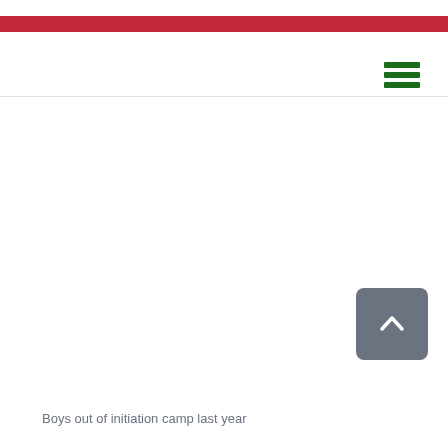[Figure (other): Hamburger menu icon with three horizontal green bars]
[Figure (other): Back to top button with upward chevron arrow on grey rounded square background]
Boys out of initiation camp last year